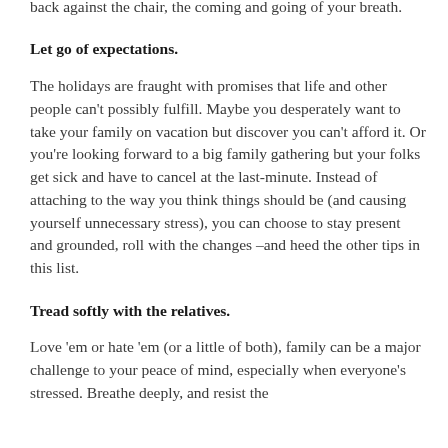back against the chair, the coming and going of your breath.
Let go of expectations.
The holidays are fraught with promises that life and other people can't possibly fulfill. Maybe you desperately want to take your family on vacation but discover you can't afford it. Or you're looking forward to a big family gathering but your folks get sick and have to cancel at the last-minute. Instead of attaching to the way you think things should be (and causing yourself unnecessary stress), you can choose to stay present and grounded, roll with the changes –and heed the other tips in this list.
Tread softly with the relatives.
Love 'em or hate 'em (or a little of both), family can be a major challenge to your peace of mind, especially when everyone's stressed. Breathe deeply, and resist the